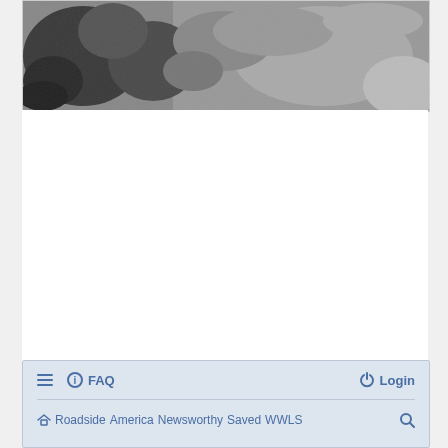[Figure (photo): Black and white photograph showing what appears to be animals (possibly dogs or livestock) in a grassy outdoor setting.]
≡  ⓘ FAQ    Login